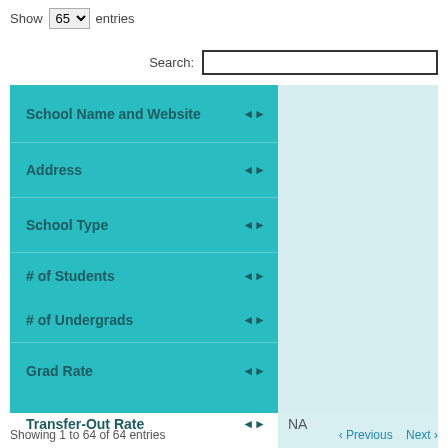Show 65 entries
Search:
| School Name and Website | Academy of Care... |
| --- | --- |
| Address | 390 Stanaford R... |
| School Type | < 2-year, Public |
| # of Students | 146 |
| # of Undergrads | 146 |
| Grad Rate | 69% |
| Transfer-Out Rate | NA |
| Net Price | $4,118 |
Showing 1 to 64 of 64 entries   Previous   Next